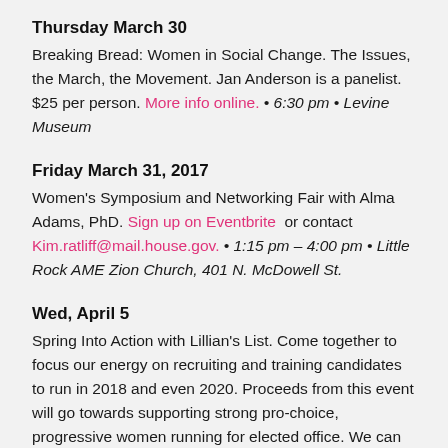Thursday March 30
Breaking Bread: Women in Social Change. The Issues, the March, the Movement. Jan Anderson is a panelist. $25 per person. More info online. • 6:30 pm • Levine Museum
Friday March 31, 2017
Women's Symposium and Networking Fair with Alma Adams, PhD. Sign up on Eventbrite  or contact Kim.ratliff@mail.house.gov. • 1:15 pm – 4:00 pm • Little Rock AME Zion Church, 401 N. McDowell St.
Wed, April 5
Spring Into Action with Lillian's List. Come together to focus our energy on recruiting and training candidates to run in 2018 and even 2020. Proceeds from this event will go towards supporting strong pro-choice, progressive women running for elected office. We can work together